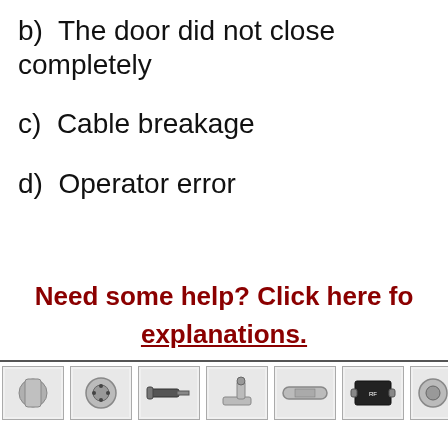b)  The door did not close completely
c)  Cable breakage
d)  Operator error
Need some help? Click here for explanations.
[Figure (photo): Row of various RF/coaxial connector photos at bottom of page]